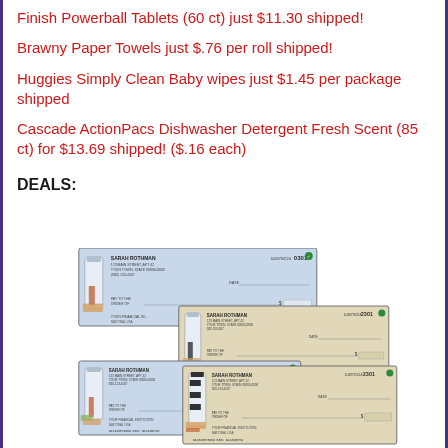Finish Powerball Tablets (60 ct) just $11.30 shipped!
Brawny Paper Towels just $.76 per roll shipped!
Huggies Simply Clean Baby wipes just $1.45 per package shipped
Cascade ActionPacs Dishwasher Detergent Fresh Scent (85 ct) for $13.69 shipped! ($.16 each)
DEALS:
[Figure (photo): Stack of four personal checks featuring lighthouse designs. Each check shows 'SARAH ROTHMAN' as the account holder with an address, routing and account numbers at the bottom, and a lighthouse image on the left side. The checks are overlapping in a cascading arrangement, alternating between blue-toned and beige/tan colored check designs.]